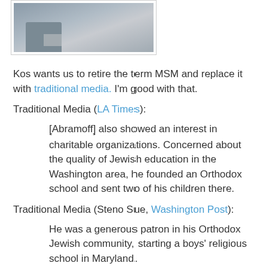[Figure (photo): Partial photo of a person sitting on a floor near a green box with items on it]
Kos wants us to retire the term MSM and replace it with traditional media. I'm good with that.
Traditional Media (LA Times):
[Abramoff] also showed an interest in charitable organizations. Concerned about the quality of Jewish education in the Washington area, he founded an Orthodox school and sent two of his children there.
Traditional Media (Steno Sue, Washington Post):
He was a generous patron in his Orthodox Jewish community, starting a boys' religious school in Maryland.
Blogger (Roger Ailes):